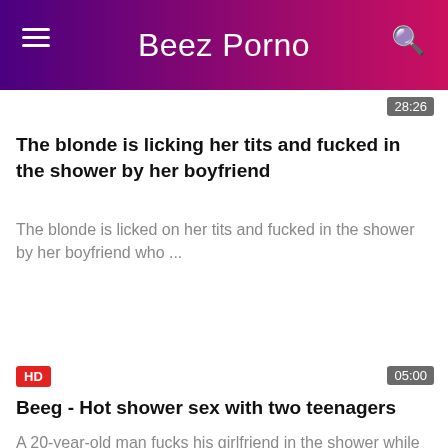Beez Porno
28:26
The blonde is licking her tits and fucked in the shower by her boyfriend
The blonde is licked on her tits and fucked in the shower by her boyfriend who ...
HD
05:00
Beeg - Hot shower sex with two teenagers
A 20-year-old man fucks his girlfriend in the shower while filming her with a